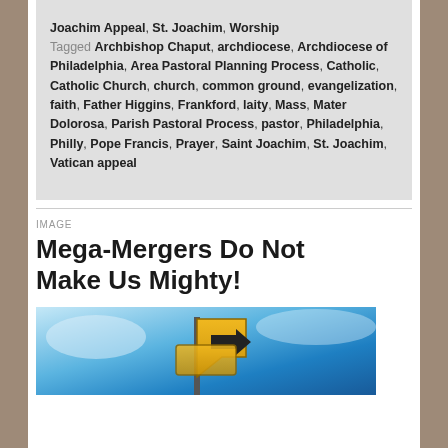Joachim Appeal, St. Joachim, Worship
Tagged Archbishop Chaput, archdiocese, Archdiocese of Philadelphia, Area Pastoral Planning Process, Catholic, Catholic Church, church, common ground, evangelization, faith, Father Higgins, Frankford, laity, Mass, Mater Dolorosa, Parish Pastoral Process, pastor, Philadelphia, Philly, Pope Francis, Prayer, Saint Joachim, St. Joachim, Vatican appeal
IMAGE
Mega-Mergers Do Not Make Us Mighty!
[Figure (photo): A photo showing road signs against a blue sky background, partially visible at the bottom of the page.]